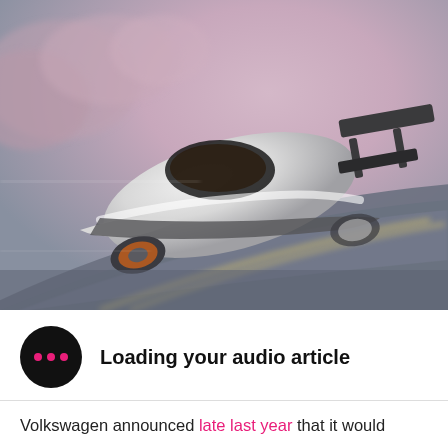[Figure (photo): Aerial/overhead view of a sleek white futuristic racing car (Volkswagen concept) on a curved road, motion blur visible, large rear wing prominent]
Loading your audio article
Volkswagen announced late last year that it would